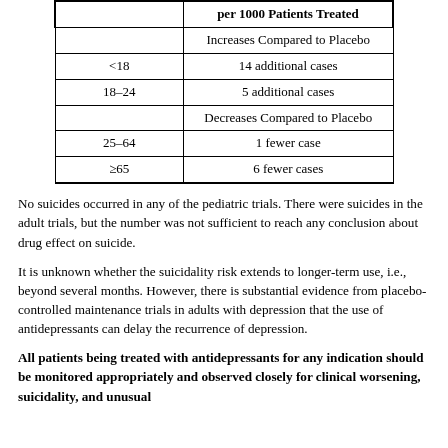|  | Drug-Drug Placebo Difference in Number of Cases of Suicidality per 1000 Patients Treated |
| --- | --- |
|  | Increases Compared to Placebo |
| <18 | 14 additional cases |
| 18–24 | 5 additional cases |
|  | Decreases Compared to Placebo |
| 25–64 | 1 fewer case |
| ≥65 | 6 fewer cases |
No suicides occurred in any of the pediatric trials. There were suicides in the adult trials, but the number was not sufficient to reach any conclusion about drug effect on suicide.
It is unknown whether the suicidality risk extends to longer-term use, i.e., beyond several months. However, there is substantial evidence from placebo-controlled maintenance trials in adults with depression that the use of antidepressants can delay the recurrence of depression.
All patients being treated with antidepressants for any indication should be monitored appropriately and observed closely for clinical worsening, suicidality, and unusual changes in behavior, especially during the initial few months of a course of drug therapy, or at times of dose changes, either increases or decreases.